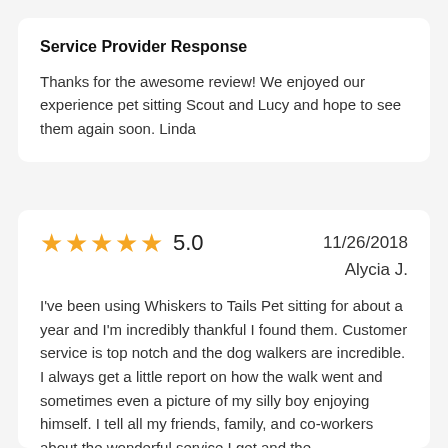Service Provider Response
Thanks for the awesome review! We enjoyed our experience pet sitting Scout and Lucy and hope to see them again soon. Linda
5.0   11/26/2018   Alycia J.
I've been using Whiskers to Tails Pet sitting for about a year and I'm incredibly thankful I found them. Customer service is top notch and the dog walkers are incredible. I always get a little report on how the walk went and sometimes even a picture of my silly boy enjoying himself. I tell all my friends, family, and co-workers about the wonderful service I get and the